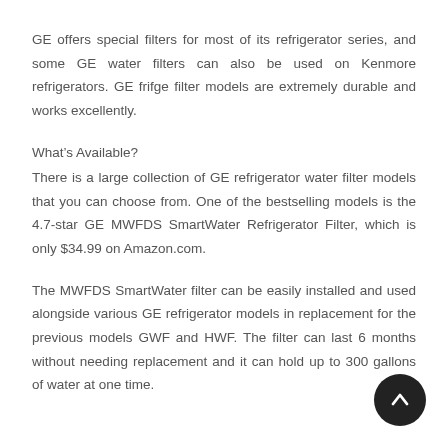GE offers special filters for most of its refrigerator series, and some GE water filters can also be used on Kenmore refrigerators. GE frifge filter models are extremely durable and works excellently.
What's Available?
There is a large collection of GE refrigerator water filter models that you can choose from. One of the bestselling models is the 4.7-star GE MWFDS SmartWater Refrigerator Filter, which is only $34.99 on Amazon.com.
The MWFDS SmartWater filter can be easily installed and used alongside various GE refrigerator models in replacement for the previous models GWF and HWF. The filter can last 6 months without needing replacement and it can hold up to 300 gallons of water at one time.